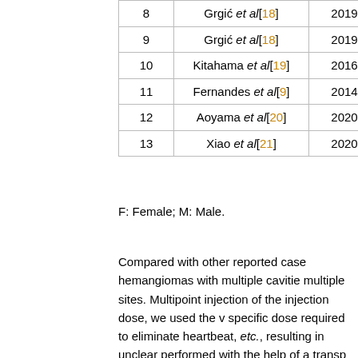| # | Author | Year |
| --- | --- | --- |
| 8 | Grgić et al[18] | 2019 |
| 9 | Grgić et al[18] | 2019 |
| 10 | Kitahama et al[19] | 2016 |
| 11 | Fernandes et al[9] | 2014 |
| 12 | Aoyama et al[20] | 2020 |
| 13 | Xiao et al[21] | 2020 |
F: Female; M: Male.
Compared with other reported cases, hemangiomas with multiple cavities at multiple sites. Multipoint injection of the injection dose, we used the v specific dose required to eliminate heartbeat, etc., resulting in unclear performed with the help of a transp fixing the targeted veins, significan hemorrhage[22].